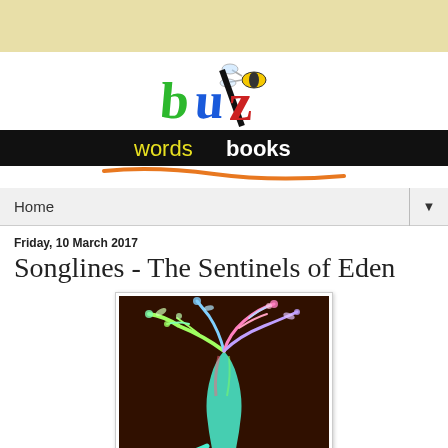[Figure (logo): buzz words books logo with colorful lettering on black bar and bee illustration]
Home
Friday, 10 March 2017
Songlines - The Sentinels of Eden
[Figure (illustration): Colorful glowing tree artwork with rainbow-colored branches and roots against a dark background]